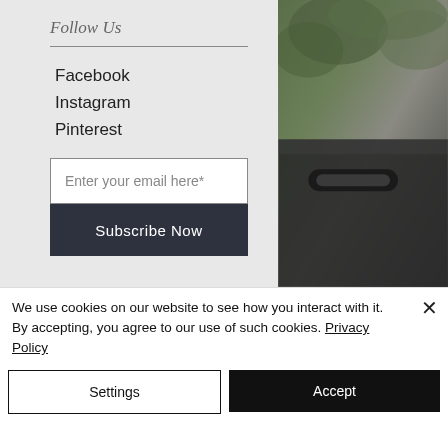Follow Us
Facebook
Instagram
Pinterest
Enter your email here*
Subscribe Now
[Figure (photo): Partial view of a dark vehicle door handle with green foliage in the background, top-right corner of the page]
We use cookies on our website to see how you interact with it. By accepting, you agree to our use of such cookies. Privacy Policy
Settings
Accept